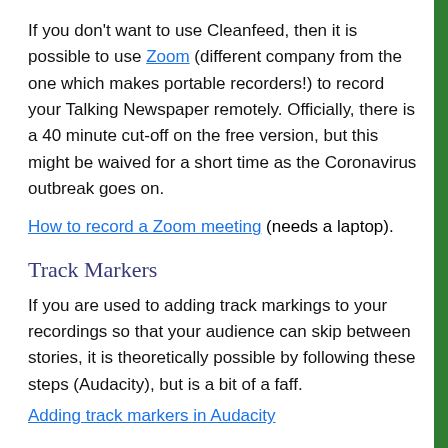If you don't want to use Cleanfeed, then it is possible to use Zoom (different company from the one which makes portable recorders!) to record your Talking Newspaper remotely. Officially, there is a 40 minute cut-off on the free version, but this might be waived for a short time as the Coronavirus outbreak goes on.
How to record a Zoom meeting (needs a laptop).
Track Markers
If you are used to adding track markings to your recordings so that your audience can skip between stories, it is theoretically possible by following these steps (Audacity), but is a bit of a faff.
Adding track markers in Audacity